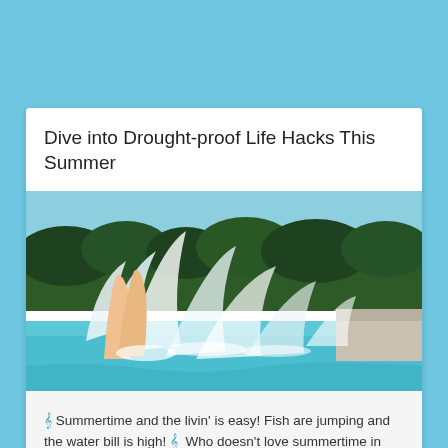Dive into Drought-proof Life Hacks This Summer
[Figure (photo): Person diving into a swimming pool creating a large water splash, with trees and blue sky in the background.]
🎵 Summertime and the livin' is easy! Fish are jumping and the water bill is high! 🎵  Who doesn't love summertime in